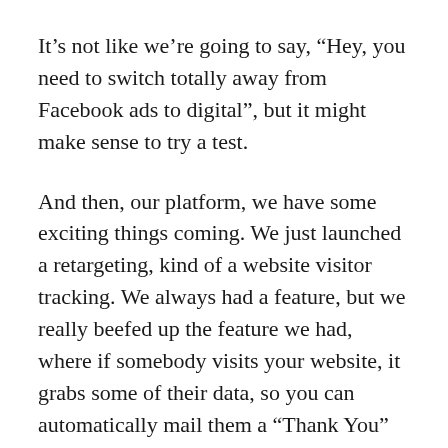It’s not like we’re going to say, “Hey, you need to switch totally away from Facebook ads to digital”, but it might make sense to try a test.
And then, our platform, we have some exciting things coming. We just launched a retargeting, kind of a website visitor tracking. We always had a feature, but we really beefed up the feature we had, where if somebody visits your website, it grabs some of their data, so you can automatically mail them a “Thank You” whether they interact with your site or not. And we have gift cards coming.
And what I’m seeing from some of our competitors is there’s a lot of people innovating and doing these kinds of things. And I think you’re going to see a few solutions like ours…